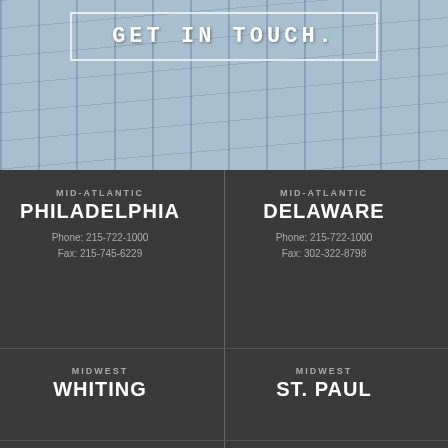GET IN TOUCH.
MID-ATLANTIC
PHILADELPHIA
Phone: 215-722-1000
Fax: 215-745-6229
MID-ATLANTIC
DELAWARE
Phone: 215-722-1000
Fax: 302-322-8798
MIDWEST
WHITING
MIDWEST
ST. PAUL
NEW ENGLAND
BOSTON
MIDWEST
TOLEDO